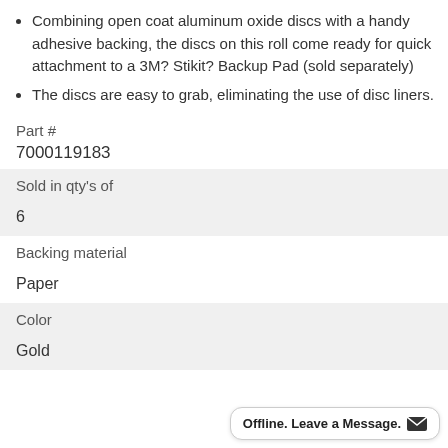Combining open coat aluminum oxide discs with a handy adhesive backing, the discs on this roll come ready for quick attachment to a 3M? Stikit? Backup Pad (sold separately)
The discs are easy to grab, eliminating the use of disc liners.
Part #
7000119183
| Sold in qty's of |  |
| 6 |  |
| Backing material |  |
| Paper |  |
| Color |  |
| Gold |  |